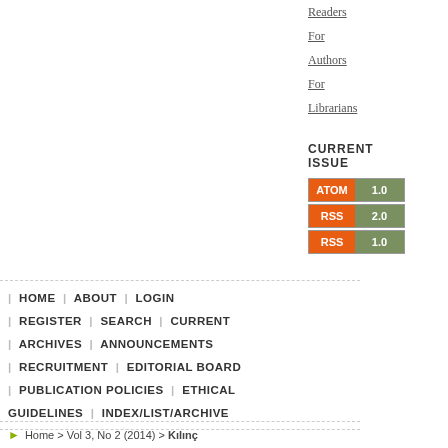Readers
For Authors
For Librarians
CURRENT ISSUE
[Figure (other): Feed badges: ATOM 1.0, RSS 2.0, RSS 1.0]
| HOME | ABOUT | LOGIN | REGISTER | SEARCH | CURRENT | ARCHIVES | ANNOUNCEMENTS | RECRUITMENT | EDITORIAL BOARD | PUBLICATION POLICIES | ETHICAL GUIDELINES | INDEX/LIST/ARCHIVE
Home > Vol 3, No 2 (2014) > Kılınç